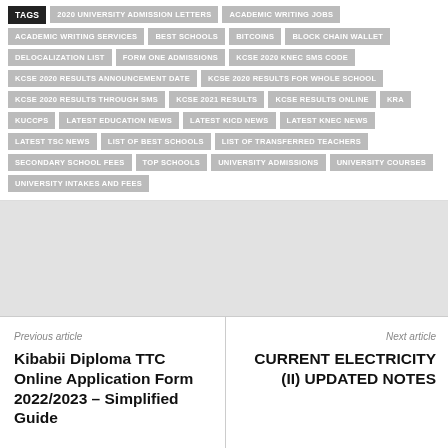TAGS | 2020 UNIVERSITY ADMISSION LETTERS | ACADEMIC WRITING JOBS | ACADEMIC WRITING SERVICES | BEST SCHOOLS | BITCOINS | BLOCK CHAIN WALLET | DELOCALIZATION LIST | FORM ONE ADMISSIONS | KCSE 2020 KNEC SMS CODE | KCSE 2020 RESULTS ANNOUNCEMENT DATE | KCSE 2020 RESULTS FOR WHOLE SCHOOL | KCSE 2020 RESULTS THROUGH SMS | KCSE 2021 RESULTS | KCSE RESULTS ONLINE | KRA | KUCCPS | LATEST EDUCATION NEWS | LATEST KICD NEWS | LATEST KNEC NEWS | LATEST TSC NEWS | LIST OF BEST SCHOOLS | LIST OF TRANSFERRED TEACHERS | SECONDARY SCHOOL FEES | TOP SCHOOLS | UNIVERSITY ADMISSIONS | UNIVERSITY COURSES | UNIVERSITY INTAKES AND FEES
Previous article
Kibabii Diploma TTC Online Application Form 2022/2023 – Simplified Guide
Next article
CURRENT ELECTRICITY (II) UPDATED NOTES